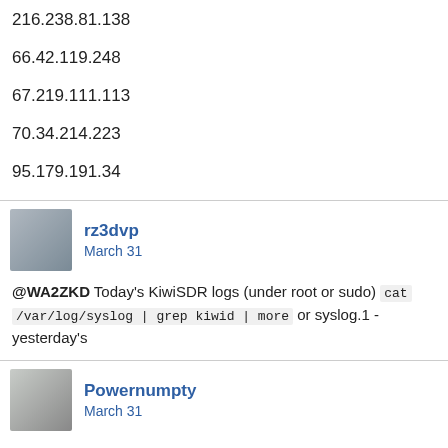216.238.81.138
66.42.119.248
67.219.111.113
70.34.214.223
95.179.191.34
rz3dvp
March 31
@WA2ZKD Today's KiwiSDR logs (under root or sudo) cat /var/log/syslog | grep kiwid | more or syslog.1 - yesterday's
Powernumpty
March 31
Only 67.219.111.113 was not already on my Vultr radar, thanks for that one.
67.219.96.0/20 added
iks